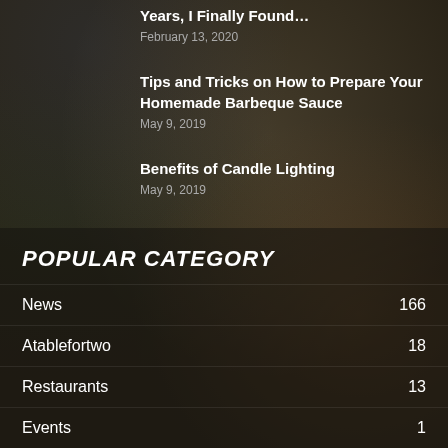Years, I Finally Found…
February 13, 2020
Tips and Tricks on How to Prepare Your Homemade Barbeque Sauce
May 9, 2019
Benefits of Candle Lighting
May 9, 2019
POPULAR CATEGORY
News 166
Atablefortwo 18
Restaurants 13
Events 1